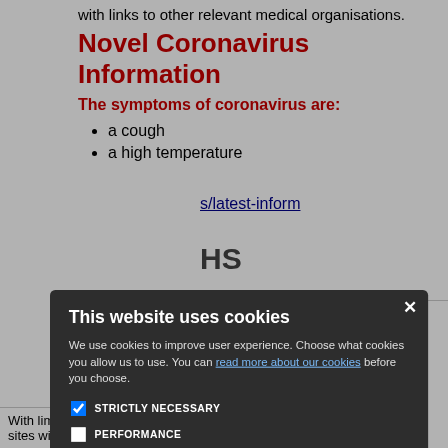with links to other relevant medical organisations.
Novel Coronavirus Information
The symptoms of coronavirus are:
a cough
a high temperature
[Figure (screenshot): Cookie consent modal dialog on an NHS/medical website. Title: 'This website uses cookies'. Body text: 'We use cookies to improve user experience. Choose what cookies you allow us to use. You can read more about our cookies before you choose.' Checkboxes: STRICTLY NECESSARY (checked), PERFORMANCE (unchecked), TARGETING (unchecked), FUNCTIONALITY (unchecked). Two buttons: ACCEPT ALL (green filled) and DECLINE ALL (outline).]
NHS Choices
NHS Choices
Health A-Z
Symptoms, c... guides
Find conditio...
Cancer treatm... bacteria
With limited supplies available, some NHS sites will